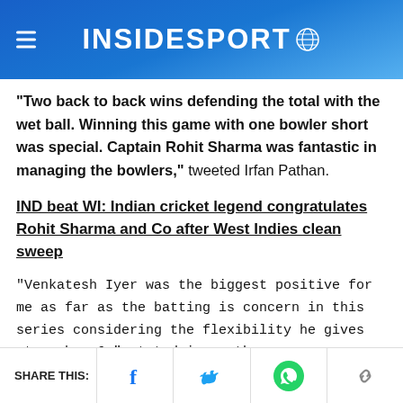INSIDESPORT
“Two back to back wins defending the total with the wet ball. Winning this game with one bowler short was special. Captain Rohit Sharma was fantastic in managing the bowlers,” tweeted Irfan Pathan.
IND beat WI: Indian cricket legend congratulates Rohit Sharma and Co after West Indies clean sweep
“Venkatesh Iyer was the biggest positive for me as far as the batting is concern in this series considering the flexibility he gives at number 6,” stated in another
SHARE THIS: